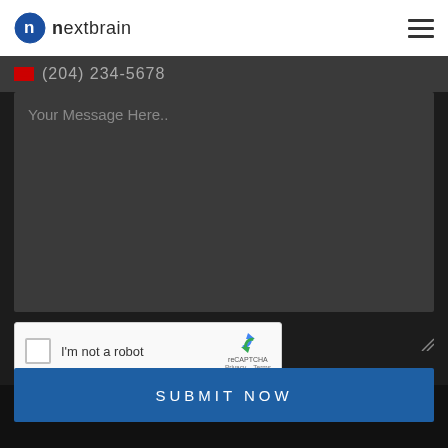[Figure (logo): Nextbrain logo: circular dark blue icon with letter n, followed by text 'nextbrain' in dark color]
[Figure (other): Hamburger menu icon (three horizontal lines) in top right corner]
(204) 234-5678
Your Message Here..
[Figure (screenshot): reCAPTCHA widget with checkbox, 'I'm not a robot' label, reCAPTCHA logo, Privacy and Terms links]
SUBMIT NOW